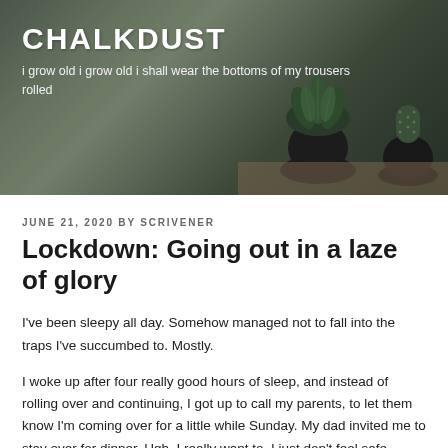[Figure (photo): Header photo of potted plants (including a cactus/succulent) on a wooden surface, with dark overlay, serving as blog header background]
CHALKDUST
i grow old i grow old i shall wear the bottoms of my trousers rolled
JUNE 21, 2020 BY SCRIVENER
Lockdown: Going out in a laze of glory
I've been sleepy all day. Somehow managed not to fall into the traps I've succumbed to. Mostly.
I woke up after four really good hours of sleep, and instead of rolling over and continuing, I got up to call my parents, to let them know I'm coming over for a little while Sunday. My dad invited me to stay over for dinner. Ugh. I really want to. I just don't feel safe enough,